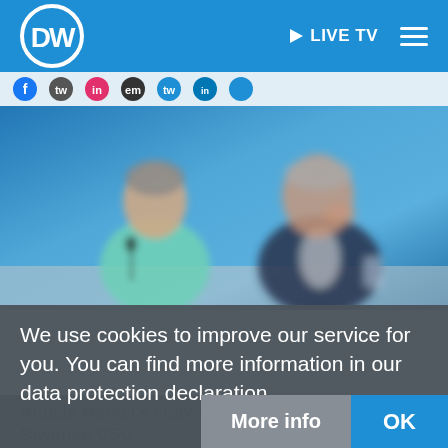DW LIVE TV
[Figure (photo): Photo of Angela Merkel (left, wearing teal jacket) and another official (right, wearing dark jacket) seated at a press conference table in front of a blue background, image appears blurred/motion-blurred]
We use cookies to improve our service for you. You can find more information in our data protection declaration.
Angela Merkel's erstwhile Bavarian CSU allies opposed to her
More info
OK